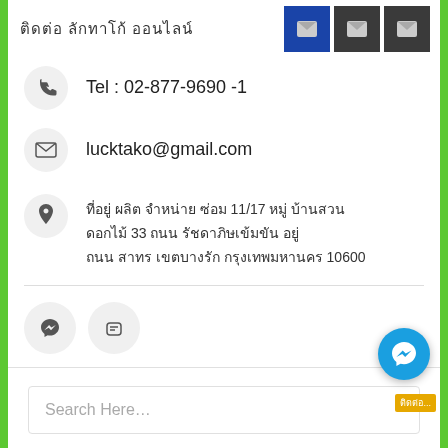ติดต่อเรา ลักทาโก้ ออนไลน์
Tel : 02-877-9690 -1
lucktako@gmail.com
ที่อยู่ ผลิต จำหน่าย ซ่อม 11/17 หมู่ บ้านสวน ดอกไม้ 33 ถนน รัชดาภิษเข้มขัน อยู่ ถนน สาทร เขตบางรัก กรุงเทพมหานคร 10600
Search Here…